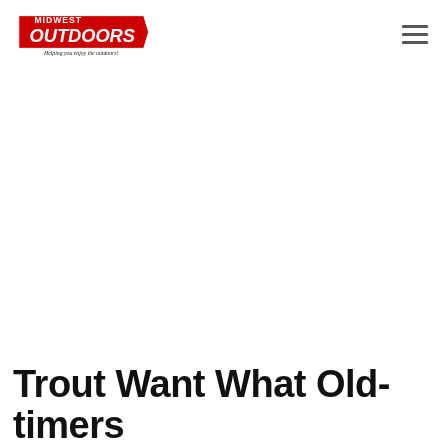[Figure (logo): Midwest Outdoors logo — red stylized text reading MIDWEST OUTDOORS with tagline 'Helping you enjoy the outdoors!' in black italic script below]
Trout Want What Old-timers